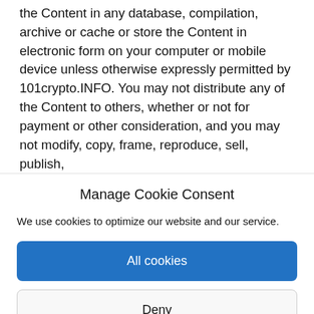the Content in any database, compilation, archive or cache or store the Content in electronic form on your computer or mobile device unless otherwise expressly permitted by 101crypto.INFO. You may not distribute any of the Content to others, whether or not for payment or other consideration, and you may not modify, copy, frame, reproduce, sell, publish,
Manage Cookie Consent
We use cookies to optimize our website and our service.
All cookies
Deny
View preferences